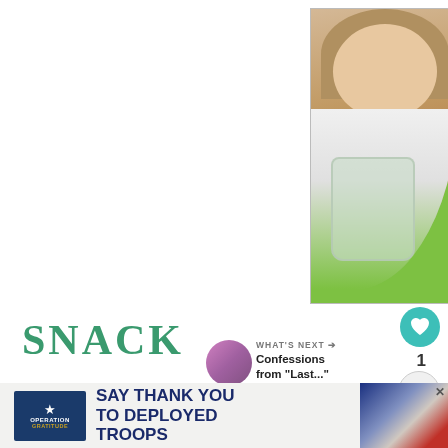[Figure (advertisement): Cookie Dough advertisement for Cookies for Kids' Cancer charity. Green background with image of a girl holding a jar of money. Text: COOKIE DOUGH, Childhood cancer didn't stop for COVID-19. LETS GET BAKING! cookies for kids' cancer]
SNACK
WHAT'S NEXT → Confessions from "Last..."
A few hours later, a whipped up a smoothie,
[Figure (advertisement): Operation Gratitude advertisement: SAY THANK YOU TO DEPLOYED TROOPS]